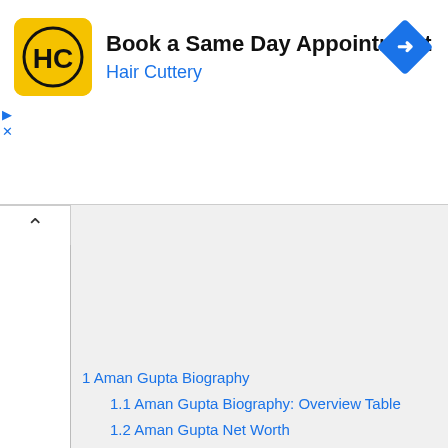[Figure (screenshot): Hair Cuttery advertisement banner: yellow square logo with HC letters in a circle, text 'Book a Same Day Appointment' and 'Hair Cuttery' in blue, blue diamond arrow icon on right, with collapse and close controls on left]
1 Aman Gupta Biography
1.1 Aman Gupta Biography: Overview Table
1.2 Aman Gupta Net Worth